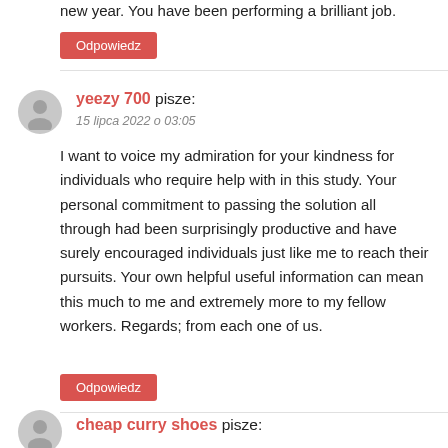new year. You have been performing a brilliant job.
Odpowiedz
yeezy 700 pisze:
15 lipca 2022 o 03:05
I want to voice my admiration for your kindness for individuals who require help with in this study. Your personal commitment to passing the solution all through had been surprisingly productive and have surely encouraged individuals just like me to reach their pursuits. Your own helpful useful information can mean this much to me and extremely more to my fellow workers. Regards; from each one of us.
Odpowiedz
cheap curry shoes pisze: